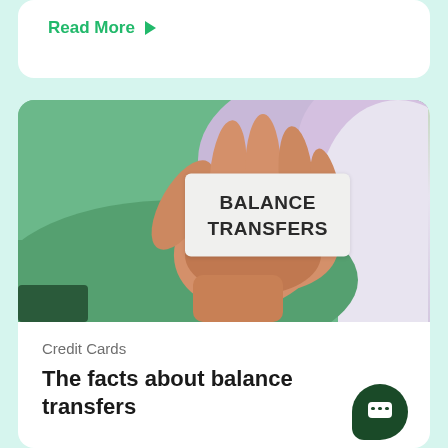Read More ▶
[Figure (photo): A hand holding a card that reads 'BALANCE TRANSFERS' against a green-tinted background]
Credit Cards
The facts about balance transfers